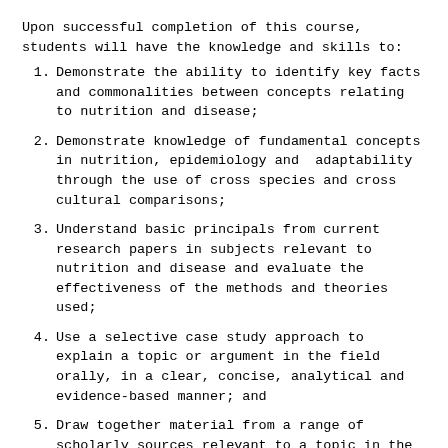Upon successful completion of this course, students will have the knowledge and skills to:
Demonstrate the ability to identify key facts and commonalities between concepts relating to nutrition and disease;
Demonstrate knowledge of fundamental concepts in nutrition, epidemiology and adaptability through the use of cross species and cross cultural comparisons;
Understand basic principals from current research papers in subjects relevant to nutrition and disease and evaluate the effectiveness of the methods and theories used;
Use a selective case study approach to explain a topic or argument in the field orally, in a clear, concise, analytical and evidence-based manner; and
Draw together material from a range of scholarly sources relevant to a topic in the field, to form a